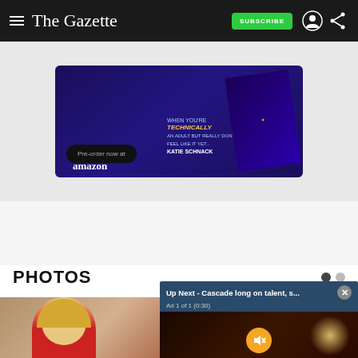The Gazette
[Figure (photo): Advertisement banner showing a book by Katie Schnack with Amazon pre-order button, on dark purple/blue background. Text visible: 'Pre-order now at amazon', 'TECHNICALLY', 'WHEN YOU'RE AN ADULT BUT REALLY DON'T FEEL LIKE IT YET...', 'KATIE SCHNACK']
PHOTOS
[Figure (photo): Photo strip showing woman with blonde hair in red top on left, and a dark crowd/concert scene on right]
[Figure (screenshot): Video player overlay: 'Up Next - Cascade long on talent, s...' with close button, 'Ad 1 of 1 (0:30)' label, mute button shown as orange circle with speaker icon]